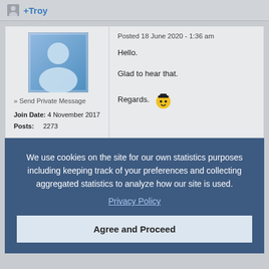+Troy
[Figure (illustration): Default user avatar: blue square with white silhouette of a person]
» Send Private Message
Join Date: 4 November 2017
Posts: 2273
Posted 18 June 2020 - 1:36 am

Hello.

Glad to hear that.

Regards.
We use cookies on the site for our own statistics purposes including keeping track of your preferences and collecting aggregated statistics to analyze how our site is used.
Privacy Policy
Agree and Proceed